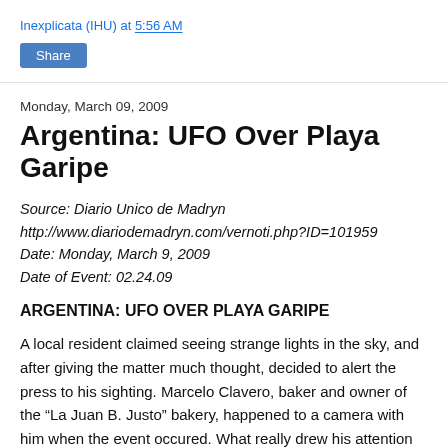Inexplicata (IHU) at 5:56 AM
Share
Monday, March 09, 2009
Argentina: UFO Over Playa Garipe
Source: Diario Unico de Madryn
http://www.diariodemadryn.com/vernoti.php?ID=101959
Date: Monday, March 9, 2009
Date of Event: 02.24.09
ARGENTINA: UFO OVER PLAYA GARIPE
A local resident claimed seeing strange lights in the sky, and after giving the matter much thought, decided to alert the press to his sighting. Marcelo Clavero, baker and owner of the “La Juan B. Justo” bakery, happened to a camera with him when the event occured. What really drew his attention were the very powerful haloes of light made by this object in